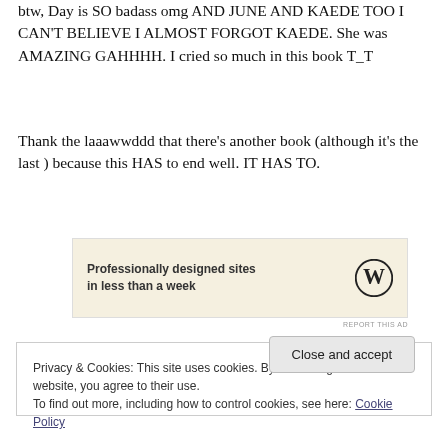btw, Day is SO badass omg AND JUNE AND KAEDE TOO I CAN'T BELIEVE I ALMOST FORGOT KAEDE. She was AMAZING GAHHHH. I cried so much in this book T_T
Thank the laaawwddd that there’s another book (although it’s the last one =( ) because this HAS to end well. IT HAS TO.
[Figure (other): WordPress advertisement banner: 'Professionally designed sites in less than a week' with WordPress logo]
REPORT THIS AD
Privacy & Cookies: This site uses cookies. By continuing to use this website, you agree to their use.
To find out more, including how to control cookies, see here: Cookie Policy
Close and accept